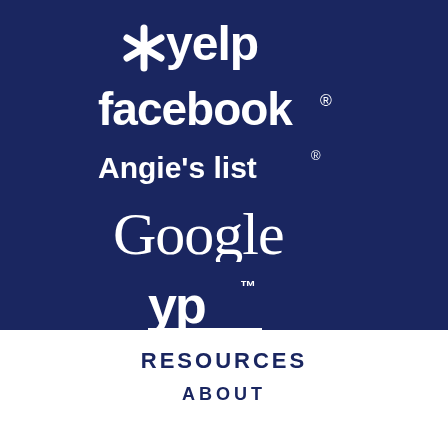[Figure (logo): Yelp logo in white on dark blue background]
[Figure (logo): Facebook logo in white on dark blue background]
[Figure (logo): Angie's list logo in white on dark blue background]
[Figure (logo): Google logo in white on dark blue background]
[Figure (logo): YP (Yellow Pages) logo in white on dark blue background]
RESOURCES
ABOUT